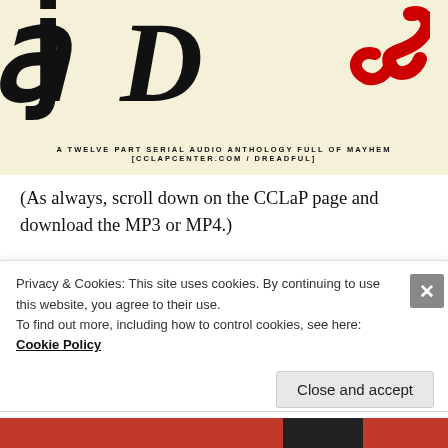[Figure (illustration): Book/podcast cover image for 'A Podcast Dreadful' on a cream/yellow background with gothic black lettering 'D' and red decorative swirl, with subtitle text 'A TWELVE PART SERIAL AUDIO ANTHOLOGY FULL OF MAYHEM [CCLAPCENTER.COM/DREADFUL]']
(As always, scroll down on the CCLaP page and download the MP3 or MP4.)
Today on the CCLaP Podcast, it’s episode 3 of A Podcast Dreadful. the center’s 12-part serial-fiction
Privacy & Cookies: This site uses cookies. By continuing to use this website, you agree to their use.
To find out more, including how to control cookies, see here: Cookie Policy
Close and accept